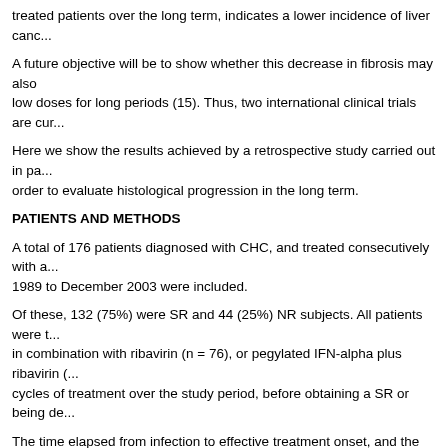treated patients over the long term, indicates a lower incidence of liver canc...
A future objective will be to show whether this decrease in fibrosis may also... low doses for long periods (15). Thus, two international clinical trials are cur...
Here we show the results achieved by a retrospective study carried out in pa... order to evaluate histological progression in the long term.
PATIENTS AND METHODS
A total of 176 patients diagnosed with CHC, and treated consecutively with a... 1989 to December 2003 were included.
Of these, 132 (75%) were SR and 44 (25%) NR subjects. All patients were t... in combination with ribavirin (n = 76), or pegylated IFN-alpha plus ribavirin (... cycles of treatment over the study period, before obtaining a SR or being de...
The time elapsed from infection to effective treatment onset, and the follow-... subjects and the beginning of the initial treatment (when there was more tha...
Liver biopsies were compared pre and post-treatment. These were obtained... ultrasonography, and all patients signed a previous informed consent. One p...
One hundred and thirty one baseline liver biopsies (99%) and 107 (81%) po... subjects, and 44 (100%) baseline and 39 (91%) post-treatment biopsies we... biopsies were carried out in both groups at least one year after therapy com...
The Metavir index, which evaluates necro-inflammatory liver activity and fib... system, composed of two letters and two numbers. In measuring histologica... absence; A1 = mild; A2 = moderate; A3 = severe activity), taking into accou... evaluating the presence and intensity of fibrosis: (F0 = absence; F1 = only p...